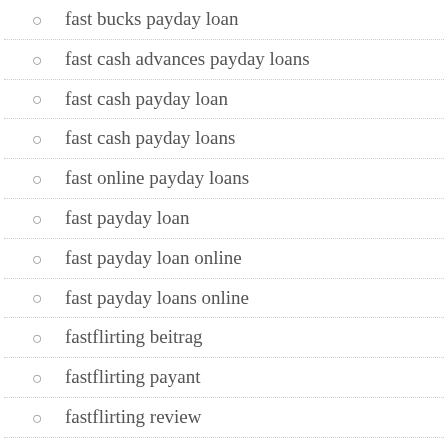fast bucks payday loan
fast cash advances payday loans
fast cash payday loan
fast cash payday loans
fast online payday loans
fast payday loan
fast payday loan online
fast payday loans online
fastflirting beitrag
fastflirting payant
fastflirting review
fastflirting reviews